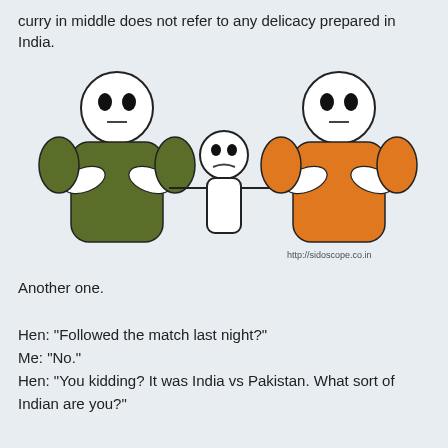curry in middle does not refer to any delicacy prepared in India.
[Figure (illustration): Three cartoon stick figures. Left figure has a green body with arms crossed. Middle figure is small and white/outline only with arms outstretched sideways showing a worried face. Right figure has an orange body with arms crossed. A watermark reads http://sidoscope.co.in]
Another one.
Hen: "Followed the match last night?"
Me: "No."
Hen: "You kidding? It was India vs Pakistan. What sort of Indian are you?"